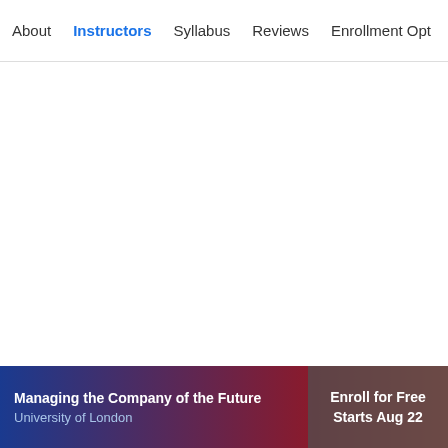About  Instructors  Syllabus  Reviews  Enrollment Opt
Syllabus - What you will learn from this course
Managing the Company of the Future
University of London
Enroll for Free
Starts Aug 22